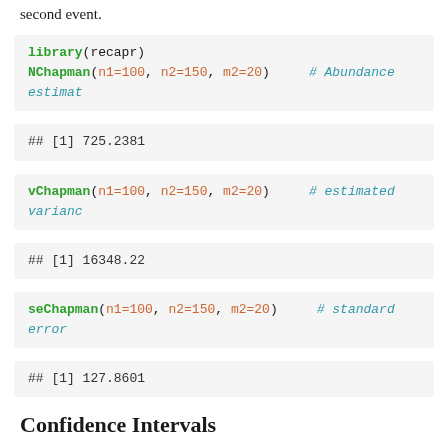second event.
library(recapr)
NChapman(n1=100, n2=150, m2=20)   # Abundance estima...
## [1] 725.2381
vChapman(n1=100, n2=150, m2=20)   # estimated varianc...
## [1] 16348.22
seChapman(n1=100, n2=150, m2=20)   # standard error
## [1] 127.8601
Confidence Intervals
Confidence intervals can be generated for the Chapman,